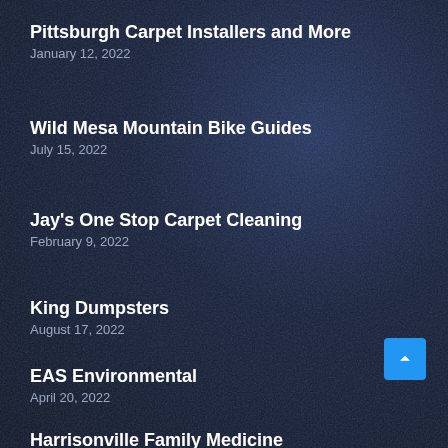Pittsburgh Carpet Installers and More
January 12, 2022
Wild Mesa Mountain Bike Guides
July 15, 2022
Jay's One Stop Carpet Cleaning
February 9, 2022
King Dumpsters
August 17, 2022
EAS Environmental
April 20, 2022
Harrisonville Family Medicine